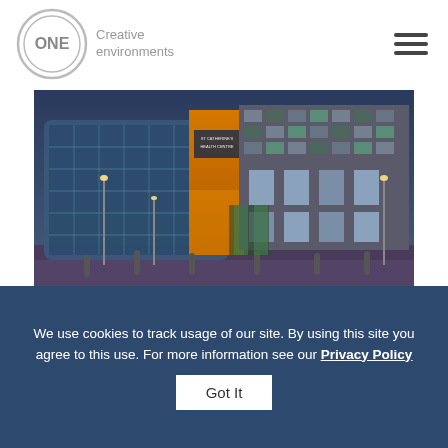ONE Creative environments
[Figure (photo): Exterior night/dusk photograph of St Catherine's Health Centre building, showing a curved glass-fronted structure with orange/yellow illuminated facade and a modern brick wing with colorful tile panels]
St Catherine's Health Centre
We use cookies to track usage of our site. By using this site you agree to this use. For more information see our Privacy Policy
Got It